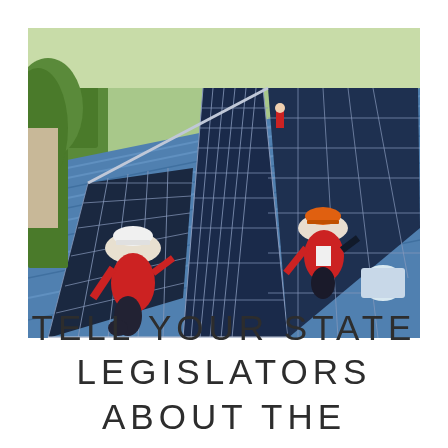[Figure (photo): Two workers in red vests and hard hats (one white, one orange) installing solar panels on a blue metal roof. Rows of dark photovoltaic panels extend into the distance.]
TELL YOUR STATE LEGISLATORS ABOUT THE